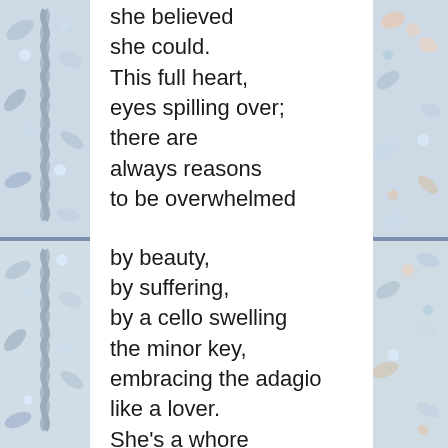[Figure (illustration): Decorative tile border on left side with floral/scroll patterns in blue, green, and white pastel tones, divided horizontally in the middle]
she believed
she could.
This full heart,
eyes spilling over;
there are
always reasons
to be overwhelmed

by beauty,
by suffering,
by a cello swelling
the minor key,
embracing the adagio
like a lover.
She's a whore
[Figure (illustration): Decorative tile border on right side with floral patterns in blue, peach, and green pastel tones, divided horizontally in the middle]